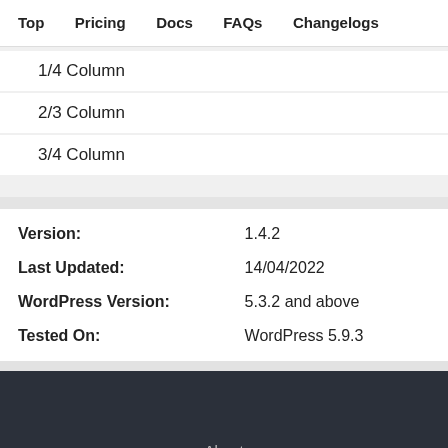Top   Pricing   Docs   FAQs   Changelogs
1/4 Column
2/3 Column
3/4 Column
| Label | Value |
| --- | --- |
| Version: | 1.4.2 |
| Last Updated: | 14/04/2022 |
| WordPress Version: | 5.3.2 and above |
| Tested On: | WordPress 5.9.3 |
About